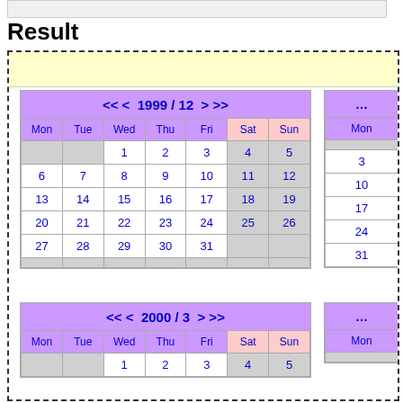Result
[Figure (screenshot): Calendar widget showing 1999/12 and partial second calendar, plus 2000/3 calendar below, inside a dashed border box with yellow header bar]
| Mon | Tue | Wed | Thu | Fri | Sat | Sun |
| --- | --- | --- | --- | --- | --- | --- |
|  |  | 1 | 2 | 3 | 4 | 5 |
| 6 | 7 | 8 | 9 | 10 | 11 | 12 |
| 13 | 14 | 15 | 16 | 17 | 18 | 19 |
| 20 | 21 | 22 | 23 | 24 | 25 | 26 |
| 27 | 28 | 29 | 30 | 31 |  |  |
|  |  |  |  |  |  |  |
| Mon | Tue | Wed | Thu | Fri | Sat | Sun |
| --- | --- | --- | --- | --- | --- | --- |
|  |  | 1 | 2 | 3 | 4 | 5 |